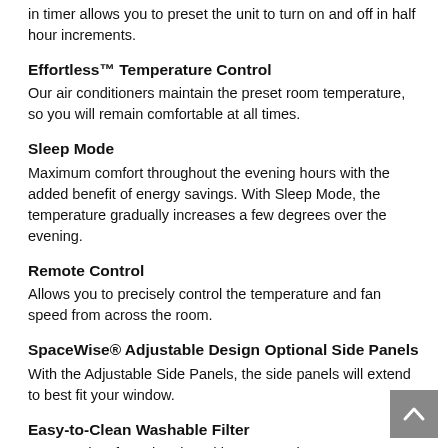in timer allows you to preset the unit to turn on and off in half hour increments.
Effortless™ Temperature Control
Our air conditioners maintain the preset room temperature, so you will remain comfortable at all times.
Sleep Mode
Maximum comfort throughout the evening hours with the added benefit of energy savings. With Sleep Mode, the temperature gradually increases a few degrees over the evening.
Remote Control
Allows you to precisely control the temperature and fan speed from across the room.
SpaceWise® Adjustable Design Optional Side Panels
With the Adjustable Side Panels, the side panels will extend to best fit your window.
Easy-to-Clean Washable Filter
Capture dust from the air and keep your air